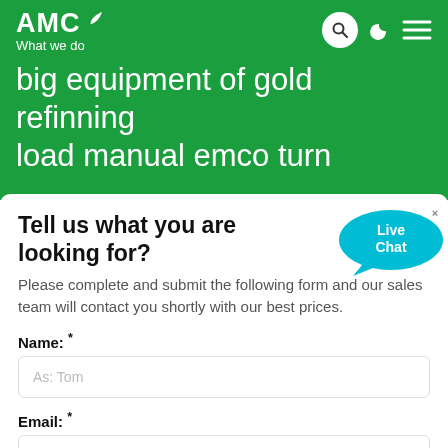AMC What we do
big equipment of gold refinning load manual emco turn
Tell us what you are looking for?
Please complete and submit the following form and our sales team will contact you shortly with our best prices.
Name: *
As: Tom
Email: *
As: vip@shanghaimeilan.com
Phone: *
With Country Code